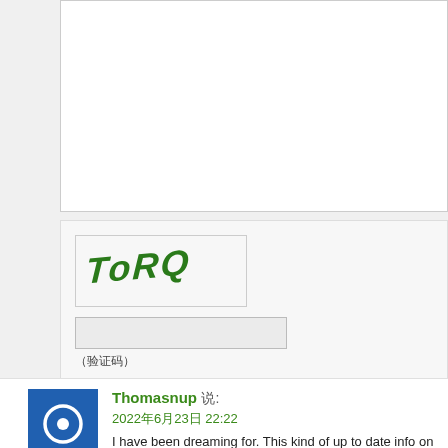[Figure (other): White textarea/text input box for comment form, partially visible, cropped at right edge]
[Figure (other): CAPTCHA image showing the text 'TORQ' in green stylized hand-drawn font on light background]
(验证码)
or Ctrl+Enter
Thomasnup 说: 2022年6月23日 22:22 I have been dreaming for. This kind of up to date info on this website appreciated and is going to help me in our studies all the time. It se